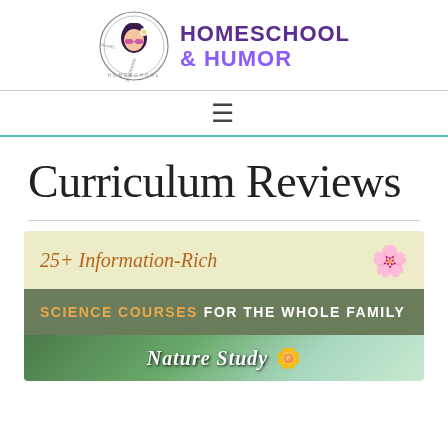[Figure (logo): Homeschool & Humor website logo with circular icon of a woman with sunglasses and text HOMESCHOOL & HUMOR]
HOMESCHOOL & HUMOR
Curriculum Reviews
[Figure (illustration): Thumbnail image for article '25+ Information-Rich Science Courses for the Whole Family' with yellow-green background, gray-green banner, and partial photo at bottom]